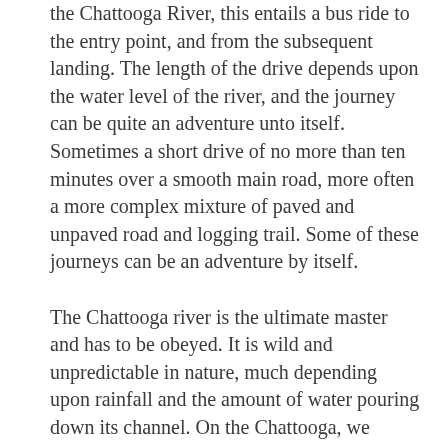the Chattooga River, this entails a bus ride to the entry point, and from the subsequent landing. The length of the drive depends upon the water level of the river, and the journey can be quite an adventure unto itself. Sometimes a short drive of no more than ten minutes over a smooth main road, more often a more complex mixture of paved and unpaved road and logging trail. Some of these journeys can be an adventure by itself. The Chattooga river is the ultimate master and has to be obeyed. It is wild and unpredictable in nature, much depending upon rainfall and the amount of water pouring down its channel. On the Chattooga, we operate the section III and section IV rapids, and all the commercial trips are governed and allocated to the various rafting companies by the U.S. Department Fisheries and Wildlife, in the interests of public safety. The timings of these trips